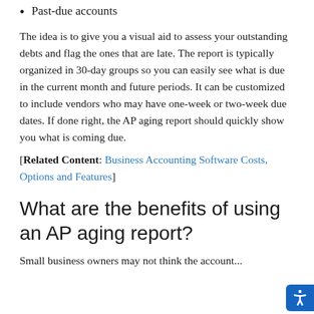Past-due accounts
The idea is to give you a visual aid to assess your outstanding debts and flag the ones that are late. The report is typically organized in 30-day groups so you can easily see what is due in the current month and future periods. It can be customized to include vendors who may have one-week or two-week due dates. If done right, the AP aging report should quickly show you what is coming due.
[Related Content: Business Accounting Software Costs, Options and Features]
What are the benefits of using an AP aging report?
Small business owners may not think the account...